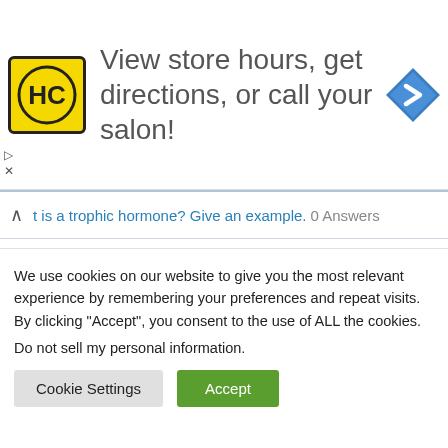[Figure (screenshot): Advertisement banner for HC salon store locator with yellow HC logo, text 'View store hours, get directions, or call your salon!' and blue direction arrow icon]
t is a trophic hormone? Give an example. 0 Answers
Draw a neatly labeled diagram of chloroplast found in leaf, and its role in photosynthesis? 0 Answers
What is meant by biofortification? 0 Answers
What do you mean by permeability of membrane? Explain with
We use cookies on our website to give you the most relevant experience by remembering your preferences and repeat visits. By clicking “Accept”, you consent to the use of ALL the cookies.
Do not sell my personal information.
Cookie Settings    Accept